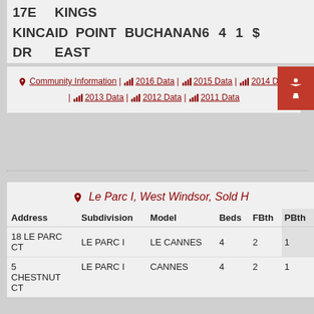17E  KINGS
KINCAID POINT  BUCHANAN 6  4  1  $
DR         EAST
Community Information | 2016 Data | 2015 Data | 2014 Data | 2013 Data | 2012 Data | 2011 Data
Le Parc I, West Windsor, Sold H
| Address | Subdivision | Model | Beds | FBth | PBth |
| --- | --- | --- | --- | --- | --- |
| 18 LE PARC CT | LE PARC I | LE CANNES | 4 | 2 | 1 |
| 5
CHESTNUT CT | LE PARC I | CANNES | 4 | 2 | 1 |